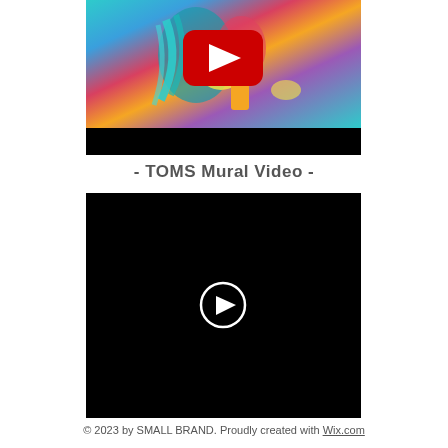[Figure (screenshot): YouTube video thumbnail showing colorful abstract mural art with teal/blue hair figure, with YouTube play button overlay and black bar at bottom]
- TOMS Mural Video -
[Figure (screenshot): Black video player with circular white play button in the center]
© 2023 by SMALL BRAND. Proudly created with Wix.com